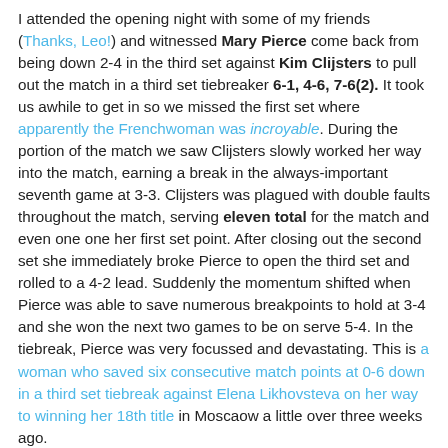I attended the opening night with some of my friends (Thanks, Leo!) and witnessed Mary Pierce come back from being down 2-4 in the third set against Kim Clijsters to pull out the match in a third set tiebreaker 6-1, 4-6, 7-6(2). It took us awhile to get in so we missed the first set where apparently the Frenchwoman was incroyable. During the portion of the match we saw Clijsters slowly worked her way into the match, earning a break in the always-important seventh game at 3-3. Clijsters was plagued with double faults throughout the match, serving eleven total for the match and even one one her first set point. After closing out the second set she immediately broke Pierce to open the third set and rolled to a 4-2 lead. Suddenly the momentum shifted when Pierce was able to save numerous breakpoints to hold at 3-4 and she won the next two games to be on serve 5-4. In the tiebreak, Pierce was very focussed and devastating. This is a woman who saved six consecutive match points at 0-6 down in a third set tiebreak against Elena Likhovsteva on her way to winning her 18th title in Moscaow a little over three weeks ago.
The next match was Maria Sharpova's win over the crafty